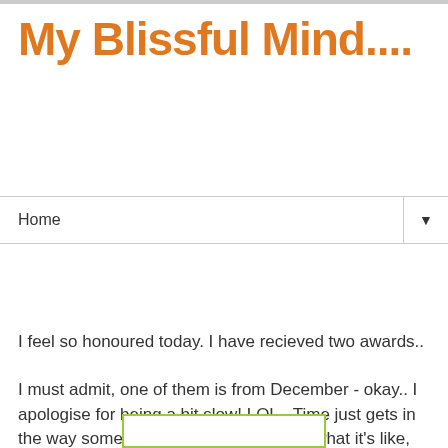My Blissful Mind....
Home
Tuesday, 27 January 2009
Oooooh I feel a bit of luvin...
I feel so honoured today. I have recieved two awards..
I must admit, one of them is from December - okay.. I apologise for being a bit slow! LOL.. Time just gets in the way sometimes, I'm sure you know what it's like, but at least I can share them now.

This first lovely one is from Juanita, from my SBS group.
[Figure (other): Partially visible image or award graphic at the bottom of the page, with a green border rectangle visible]